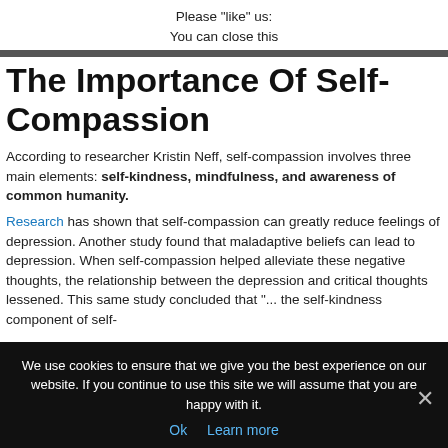Please "like" us:
You can close this
The Importance Of Self-Compassion
According to researcher Kristin Neff, self-compassion involves three main elements: self-kindness, mindfulness, and awareness of common humanity.
Research has shown that self-compassion can greatly reduce feelings of depression. Another study found that maladaptive beliefs can lead to depression. When self-compassion helped alleviate these negative thoughts, the relationship between the depression and critical thoughts lessened. This same study concluded that "... the self-kindness component of self-
We use cookies to ensure that we give you the best experience on our website. If you continue to use this site we will assume that you are happy with it.
Ok   Learn more